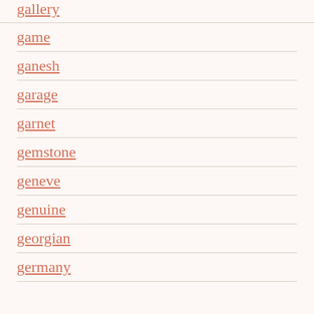gallery
game
ganesh
garage
garnet
gemstone
geneve
genuine
georgian
germany